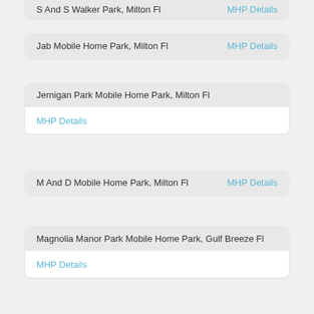S And S Walker Park, Milton Fl — MHP Details (partial, top of page)
Jab Mobile Home Park, Milton Fl — MHP Details
Jernigan Park Mobile Home Park, Milton Fl — MHP Details
M And D Mobile Home Park, Milton Fl — MHP Details
Magnolia Manor Park Mobile Home Park, Gulf Breeze Fl — MHP Details